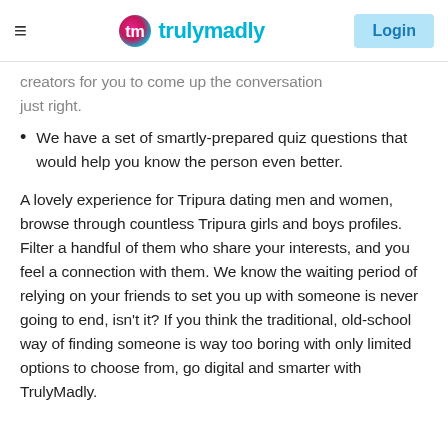trulymadly [logo] Login
...creators for you to come up the conversation just right.
We have a set of smartly-prepared quiz questions that would help you know the person even better.
A lovely experience for Tripura dating men and women, browse through countless Tripura girls and boys profiles. Filter a handful of them who share your interests, and you feel a connection with them. We know the waiting period of relying on your friends to set you up with someone is never going to end, isn't it? If you think the traditional, old-school way of finding someone is way too boring with only limited options to choose from, go digital and smarter with TrulyMadly.